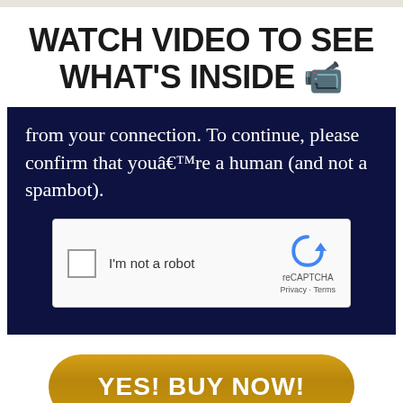WATCH VIDEO TO SEE WHAT'S INSIDE 🎬
from your connection. To continue, please confirm that youâ€™re a human (and not a spambot).
[Figure (screenshot): reCAPTCHA widget with checkbox labeled 'I'm not a robot' and reCAPTCHA logo with Privacy and Terms links]
YES! BUY NOW!